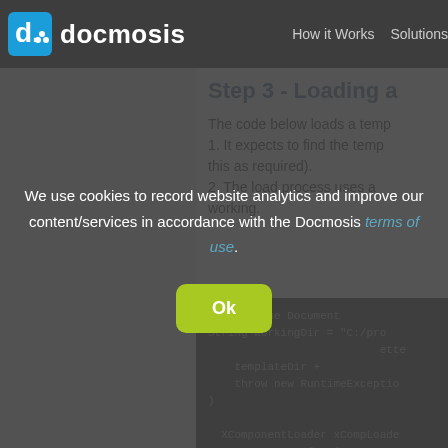docmosis — How it Works   Solutions
Step 3 - Loading a
The code below loads a temp 1. It expects to find the temp this as required). 2. The load process uses a working.
[Figure (screenshot): Code snippet showing Java code for loading a document template in Docmosis, with lines: // Load the Document, String workingDir = "C:/pro...", letter..., templateDir +, throw new RuntimeException..., XComponentLoader xCompLoade..., .queryInterface(com.sun.s...]
We use cookies to record website analytics and improve our content/services in accordance with the Docmosis terms of use.